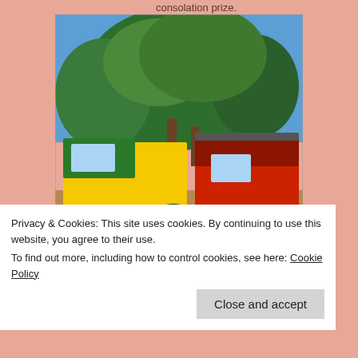consolation prize.
[Figure (photo): A person with a backpack waving at camera, standing between a yellow Scania truck on the left and a red Mercedes-Benz truck on the right, with large trees in the background under a blue sky. Dirt ground visible, appears to be an African setting.]
Privacy & Cookies: This site uses cookies. By continuing to use this website, you agree to their use.
To find out more, including how to control cookies, see here: Cookie Policy
Close and accept